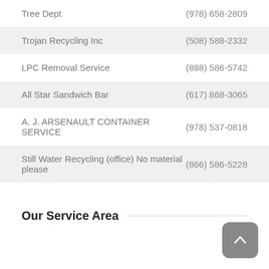Tree Dept	(978) 658-2809
Trojan Recycling Inc	(508) 588-2332
LPC Removal Service	(888) 586-5742
All Star Sandwich Bar	(617) 868-3065
A. J. ARSENAULT CONTAINER SERVICE	(978) 537-0818
Still Water Recycling (office) No material please	(866) 586-5228
Our Service Area